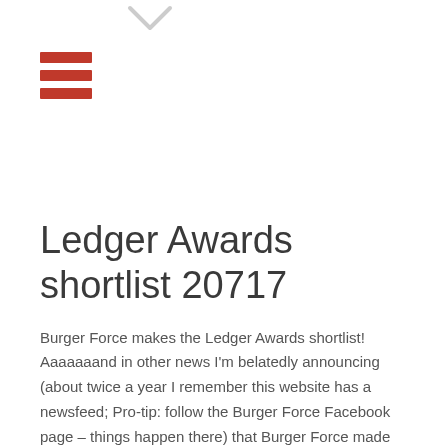[Figure (illustration): Navigation arrow pointing downward, light gray outline style]
[Figure (illustration): Hamburger menu icon consisting of three horizontal red bars]
Ledger Awards shortlist 20717
Burger Force makes the Ledger Awards shortlist! Aaaaaaand in other news I'm belatedly announcing (about twice a year I remember this website has a newsfeed; Pro-tip: follow the Burger Force Facebook page – things happen there) that Burger Force made the shortlist for the 2017 Ledger Awards for Excellence in Australian Comics and Graphic Novels....